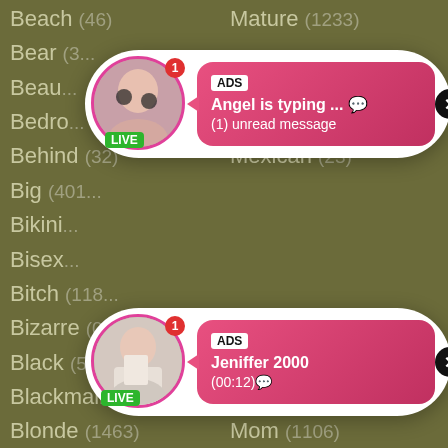Beach (46)
Mature (1233)
Bear (3...)
Beau...
Bedro...
Behind (32)
Mexican (23)
Big (401...)
Bikini...
Bisex...
Bitch (118...)
Bizarre (0)
Missionary (37)
Black (505)
Mistress (162)
Blackmail (11)
Mmf (55)
Blonde (1463)
Mom (1106)
Blow (2757)
Money (30)
Blue (45)
Monster (43)
Body (74)
Morning (38)
Bondage (155)
Mouthful (16)
Boob... (...)
Muscle (5...)
[Figure (screenshot): Ad popup card 1: Avatar with LIVE badge and notification badge, pink gradient bubble with ADS label, text 'Angel is typing ... 💬 (1) unread message', close button]
[Figure (screenshot): Ad popup card 2: Avatar with LIVE badge and notification badge, pink gradient bubble with ADS label, text 'Jeniffer 2000 (00:12)💬', close button]